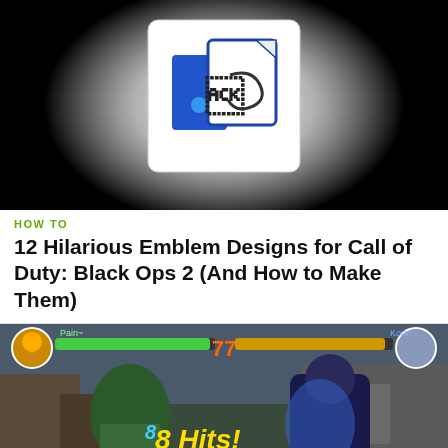[Figure (screenshot): Top portion of article showing a Facebook-like icon logo on dark/black background with white glow]
HOW TO
12 Hilarious Emblem Designs for Call of Duty: Black Ops 2 (And How to Make Them)
[Figure (screenshot): Screenshot of a Naruto fighting video game with two characters battling, health bars at top, character portraits on left and right, damage numbers visible]
[Figure (screenshot): Advertisement banner for Chewy.com - Pet Food, Products, Supplies at Low Prices. Pay the lowest prices on pet supplies at Chewy.com]